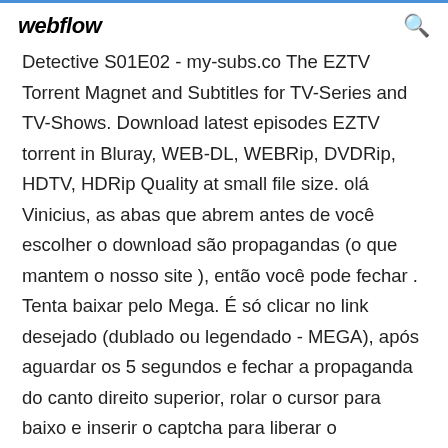webflow
Detective S01E02 - my-subs.co The EZTV Torrent Magnet and Subtitles for TV-Series and TV-Shows. Download latest episodes EZTV torrent in Bluray, WEB-DL, WEBRip, DVDRip, HDTV, HDRip Quality at small file size. olá Vinicius, as abas que abrem antes de você escolher o download são propagandas (o que mantem o nosso site ), então você pode fechar . Tenta baixar pelo Mega. É só clicar no link desejado (dublado ou legendado - MEGA), após aguardar os 5 segundos e fechar a propaganda do canto direito superior, rolar o cursor para baixo e inserir o captcha para liberar o download. سریال، True Detective دانلود سریال کاراگاه حقیقی داستان سه کاراگاه حرفه ای به نام های